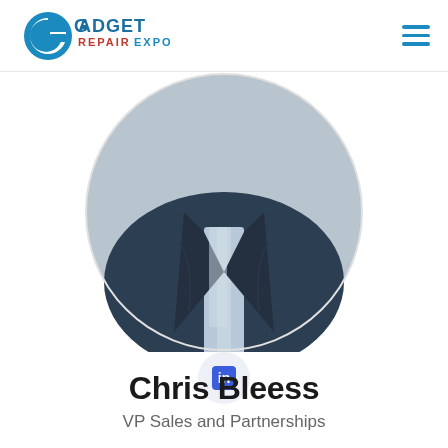[Figure (logo): Gadget Repair Expo logo with stylized G icon in blue and red/blue text]
[Figure (photo): Circular cropped profile photo showing a person in a dark suit jacket, torso-level view only]
[Figure (logo): LinkedIn icon - white 'in' on blue rounded square background, inside light circle]
Chris Bleess
VP Sales and Partnerships